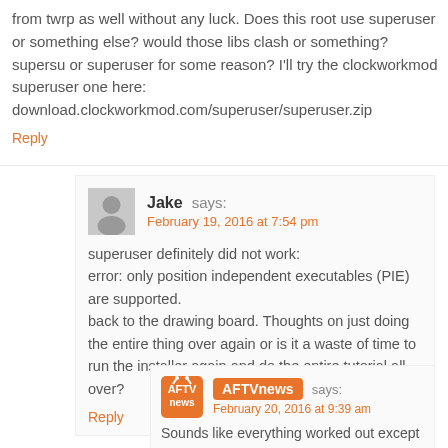from twrp as well without any luck. Does this root use superuser or something else? would those libs clash or something? supersu or superuser for some reason? I'll try the clockworkmod superuser one here: download.clockworkmod.com/superuser/superuser.zip
Reply
Jake says: February 19, 2016 at 7:54 pm
superuser definitely did not work:
error: only position independent executables (PIE) are supported.
back to the drawing board. Thoughts on just doing the entire thing over again or is it a waste of time to run the installer again and do the entire tutorial all over?
Reply
AFTVnews says: February 20, 2016 at 9:39 am
Sounds like everything worked out except